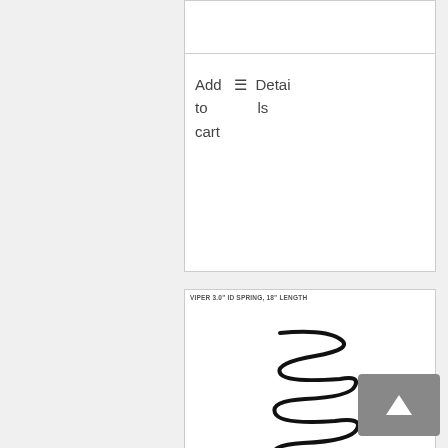Add to cart   ☰ Details
[Figure (photo): Coil spring product photo with VST logo and 'AVAILABLE IN BLACK OR RED' text. Label reads 'VIPER 3.0" ID SPRING, 18" LENGTH']
Viper 3.0 Inch ID Spring, 18 Inch Length 150 lb Black
$75.00